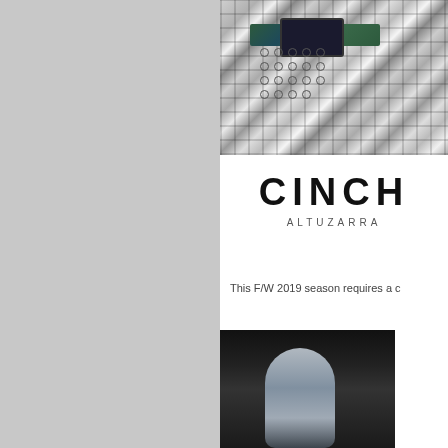[Figure (photo): Left half of page shows a solid gray panel background.]
[Figure (photo): Fashion photo showing a close-up of a plaid/checkered garment with a dark decorative belt with eyelets and a square buckle at the waist.]
CINCH
ALTUZARRA
This F/W 2019 season requires a c
[Figure (photo): Fashion runway photo showing a model's leg in what appears to be a light gray or pale legging/tight, shot against a dark background.]